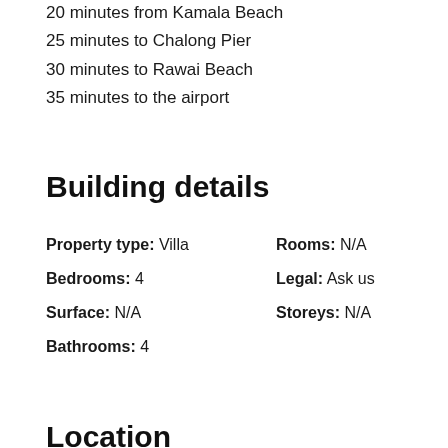20 minutes from Kamala Beach
25 minutes to Chalong Pier
30 minutes to Rawai Beach
35 minutes to the airport
Building details
Property type: Villa | Rooms: N/A | Bedrooms: 4 | Legal: Ask us | Surface: N/A | Storeys: N/A | Bathrooms: 4
Location